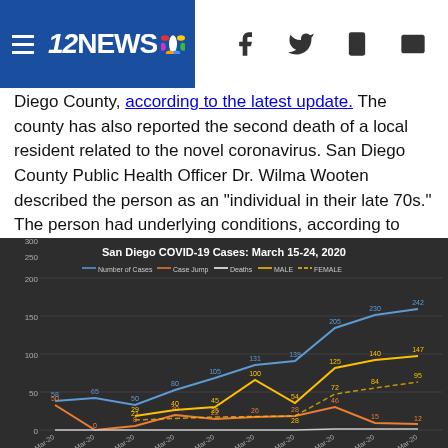12NEWS
Diego County, according to the latest update. The county has also reported the second death of a local resident related to the novel coronavirus. San Diego County Public Health Officer Dr. Wilma Wooten described the person as an "individual in their late 70s." The person had underlying conditions, according to Wooten.
[Figure (line-chart): San Diego COVID-19 Cases: March 15-24, 2020]